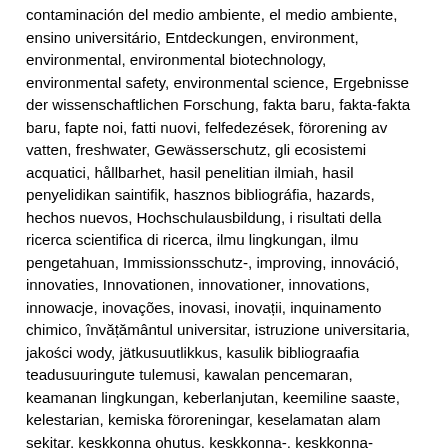contaminación del medio ambiente, el medio ambiente, ensino universitário, Entdeckungen, environment, environmental, environmental biotechnology, environmental safety, environmental science, Ergebnisse der wissenschaftlichen Forschung, fakta baru, fakta-fakta baru, fapte noi, fatti nuovi, felfedezések, förorening av vatten, freshwater, Gewässerschutz, gli ecosistemi acquatici, hållbarhet, hasil penelitian ilmiah, hasil penyelidikan saintifik, hasznos bibliográfia, hazards, hechos nuevos, Hochschulausbildung, i risultati della ricerca scientifica di ricerca, ilmu lingkungan, ilmu pengetahuan, Immissionsschutz-, improving, innováció, innovaties, Innovationen, innovationer, innovations, innowacje, inovações, inovasi, inovații, inquinamento chimico, învățământul universitar, istruzione universitaria, jakości wody, jätkusuutlikkus, kasulik bibliograafia teadusuuringute tulemusi, kawalan pencemaran, keamanan lingkungan, keberlanjutan, keemiline saaste, kelestarian, kemiska föroreningar, keselamatan alam sekitar, keskkonna ohutus, keskkonna-, keskkonna-biotehnoloogia, kirlilik kontrolü, konservasi alam, kontrola